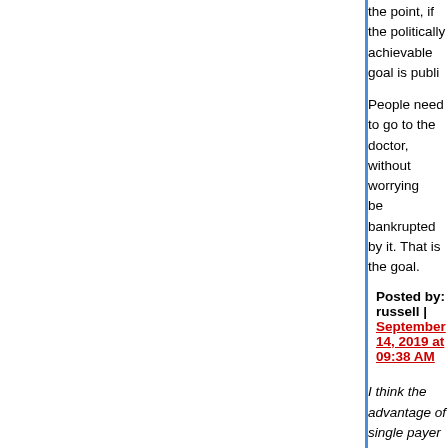the point, if the politically achievable goal is public...
People need to go to the doctor, without worrying... be bankrupted by it. That is the goal.
Posted by: russell | September 14, 2019 at 09:38 AM
I think the advantage of single payer is that it give... to bring costs down. And politically, if everyone us... of politics, something very difficult to cut, though c... both parties have been itching to cut Social Secu...
I'm very much focused--perhaps to a slightly unhe... on GCC. Donald's statement here relates indirect...
First, Donald, sorry to be singling you out. Donald... outspoken critic of our government's wars in the M... particular. He acknowledges that many other gove... directly and indirectly in the Middle Eastern mayh... oppression around the word.
When the government has more power to cause s... what the government is forcing meets with your sa... example of government oppression, or coercion c...